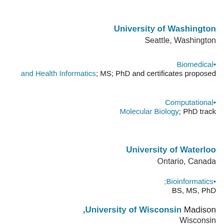University of Washington
Seattle, Washington
Biomedical• and Health Informatics; MS; PhD and certificates proposed
Computational• Molecular Biology; PhD track
University of Waterloo
Ontario, Canada
;Bioinformatics• BS, MS, PhD
University of Wisconsin, Madison
Wisconsin